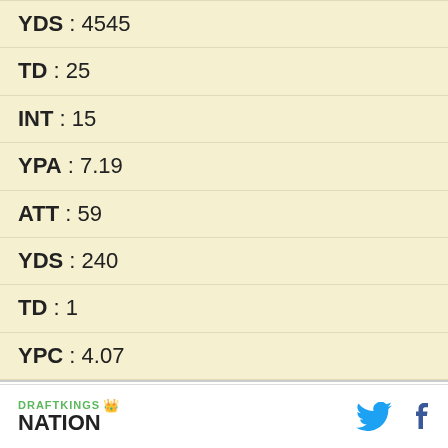| YDS | 4545 |
| TD | 25 |
| INT | 15 |
| YPA | 7.19 |
| ATT | 59 |
| YDS | 240 |
| TD | 1 |
| YPC | 4.07 |
Season : *
Opp : *
[Figure (logo): DraftKings Nation logo with green DRAFTKINGS text and crown icon, NATION in bold black below]